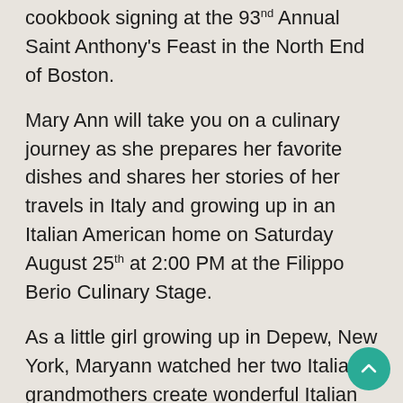cookbook signing at the 93rd Annual Saint Anthony's Feast in the North End of Boston.
Mary Ann will take you on a culinary journey as she prepares her favorite dishes and shares her stories of her travels in Italy and growing up in an Italian American home on Saturday August 25th at 2:00 PM at the Filippo Berio Culinary Stage.
As a little girl growing up in Depew, New York, Maryann watched her two Italian grandmothers create wonderful Italian dishes. Both nonnas, one Sicilian and one Neapolitan, instilled in Mary Ann a deep appreciation for Italian food and culture. It is this affection for all things Italian that Mary Ann shares with her television audience and now with you at this